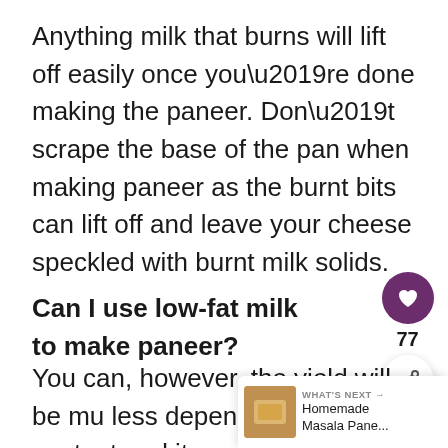Anything milk that burns will lift off easily once you’re done making the paneer. Don’t scrape the base of the pan when making paneer as the burnt bits can lift off and leave your cheese speckled with burnt milk solids.
Can I use low-fat milk to make paneer?
You can, however, the yield will be mu… less depending on fat content and it may also be quite firm to eat.